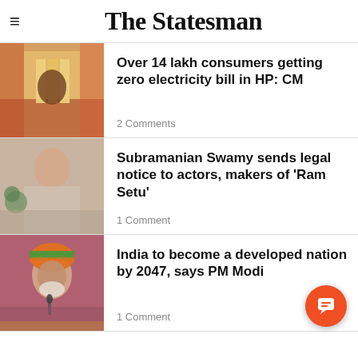The Statesman
[Figure (photo): Person speaking at a podium with colorful decorations in background]
Over 14 lakh consumers getting zero electricity bill in HP: CM
2 Comments
[Figure (photo): Man in white kurta waving, with plants in background]
Subramanian Swamy sends legal notice to actors, makers of 'Ram Setu'
1 Comment
[Figure (photo): PM Modi wearing a saffron-green turban speaking at a microphone]
India to become a developed nation by 2047, says PM Modi
1 Comment